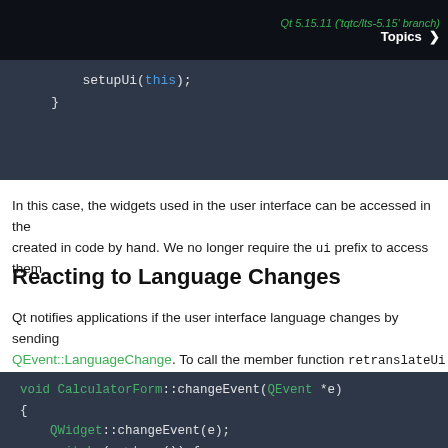Qt 5.15.11 ('tqtc/lts-5.15' branch)  Topics >
[Figure (screenshot): Code block showing setupUi(this); and closing brace in dark background]
In this case, the widgets used in the user interface can be accessed in the created in code by hand. We no longer require the ui prefix to access them.
Reacting to Language Changes
Qt notifies applications if the user interface language changes by sending QEvent::LanguageChange. To call the member function retranslateUi object, we reimplement QWidget::changeEvent() in the form class, a
[Figure (screenshot): Code block showing void CalculatorForm::changeEvent(QEvent *e) function with QWidget::changeEvent(e), switch(e->type()), case QEvent::LanguageChange, ui->retranslateUi(this), break, default:]